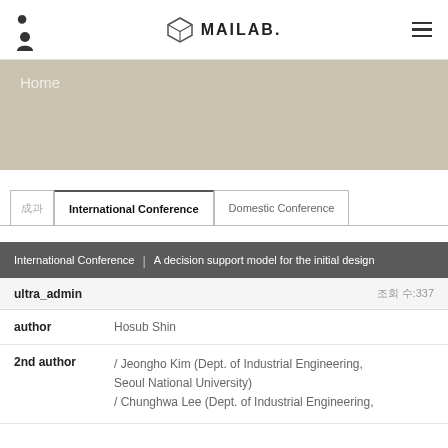MAILAB.
Home
International Conference | Domestic Conference
International Conference | A decision support model for the initial design
ultra_admin  조회 수:337
author: Hosub Shin
2nd author: / Jeongho Kim (Dept. of Industrial Engineering, Seoul National University)
/ Chunghwa Lee (Dept. of Industrial Engineering,